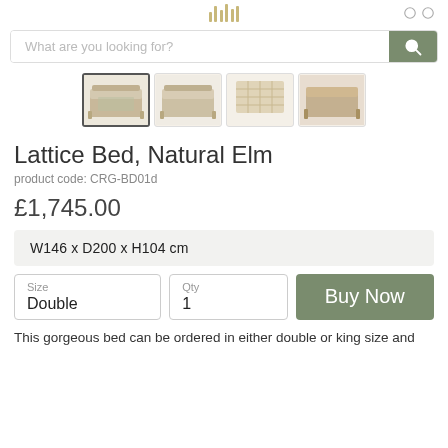Logo icon
[Figure (screenshot): Search bar with placeholder text 'What are you looking for?' and a sage green search button with magnifying glass icon]
[Figure (photo): Four product thumbnail images of the Lattice Bed in Natural Elm, showing different angles. The first thumbnail is selected/highlighted.]
Lattice Bed, Natural Elm
product code: CRG-BD01d
£1,745.00
W146 x D200 x H104 cm
Size
Double
Qty
1
Buy Now
This gorgeous bed can be ordered in either double or king size and